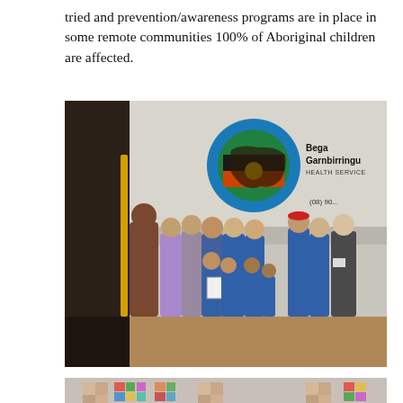tried and prevention/awareness programs are in place in some remote communities 100% of Aboriginal children are affected.
[Figure (photo): Group photo of adults and children standing in front of a Bega Garnbirringu Health Service vehicle. The logo shows a colourful map of Australia on a globe. Adults are wearing blue uniforms. One child is holding a framed certificate.]
[Figure (photo): Partially visible/blurred photo at the bottom of the page, showing people with pixelated/blurred faces and colourful background elements.]